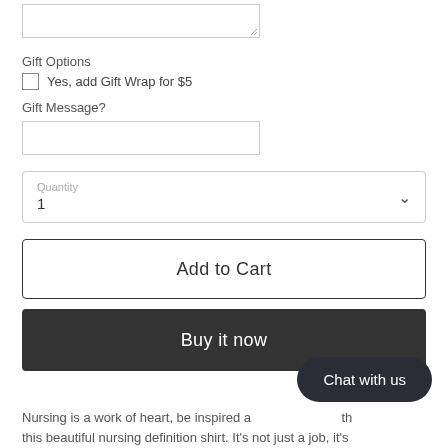[Figure (screenshot): Partial text area input stub at top of page]
Gift Options
Yes, add Gift Wrap for $5
Gift Message?
[Figure (screenshot): Text input field for gift message]
[Figure (screenshot): Quantity dropdown selector showing value 1]
[Figure (screenshot): Add to Cart button]
[Figure (screenshot): Buy it now dark button]
[Figure (screenshot): Chat with us floating button]
Nursing is a work of heart, be inspired and motivated with this beautiful nursing definition shirt. It's not just a job, it's